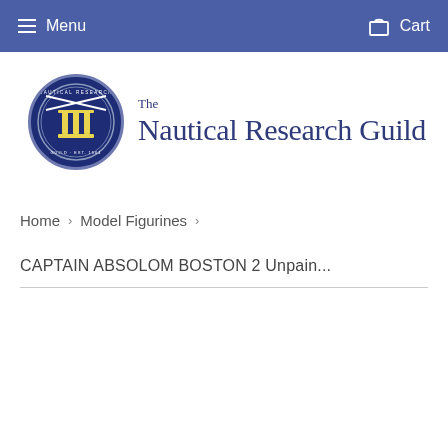Menu  Cart
[Figure (logo): The Nautical Research Guild logo — circular emblem with blue background and gold/white design, alongside text 'The Nautical Research Guild']
Home › Model Figurines ›
CAPTAIN ABSOLOM BOSTON 2 Unpain...